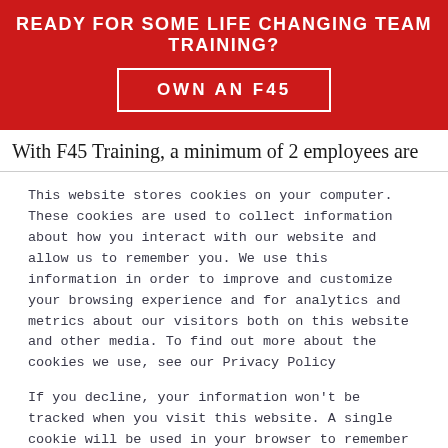READY FOR SOME LIFE CHANGING TEAM TRAINING?
OWN AN F45
With F45 Training, a minimum of 2 employees are
This website stores cookies on your computer. These cookies are used to collect information about how you interact with our website and allow us to remember you. We use this information in order to improve and customize your browsing experience and for analytics and metrics about our visitors both on this website and other media. To find out more about the cookies we use, see our Privacy Policy

If you decline, your information won't be tracked when you visit this website. A single cookie will be used in your browser to remember your preference not to be tracked.
Accept
Decline